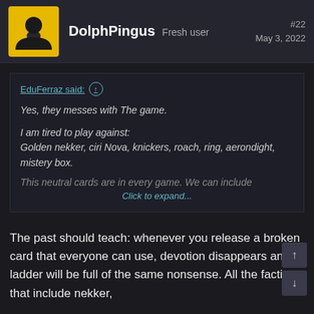DolphPingus  Fresh user  #22  May 3, 2022
EduFerraz said: ↑
Yes, they messes with The game.
I am tired to play against:
Golden nekker, ciri Nova, knickers, roach, ring, aerondight, mistery box.
This neutral cards are in every game. We can include
Click to expand...
The past should teach: whenever you release a broken card that everyone can use, devotion disappears and ladder will be full of the same nonsense. All the factions that include nekker,